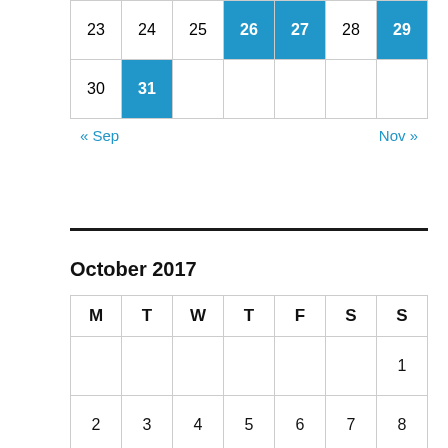| M | T | W | T | F | S | S |
| --- | --- | --- | --- | --- | --- | --- |
| 23 | 24 | 25 | 26 | 27 | 28 | 29 |
| 30 | 31 |  |  |  |  |  |
« Sep    Nov »
October 2017
| M | T | W | T | F | S | S |
| --- | --- | --- | --- | --- | --- | --- |
|  |  |  |  |  |  | 1 |
| 2 | 3 | 4 | 5 | 6 | 7 | 8 |
| 9 | 10 | 11 | 12 | 13 | 14 | 15 |
| 16 | 17 | 18 | 19 | 20 | 21 | 22 |